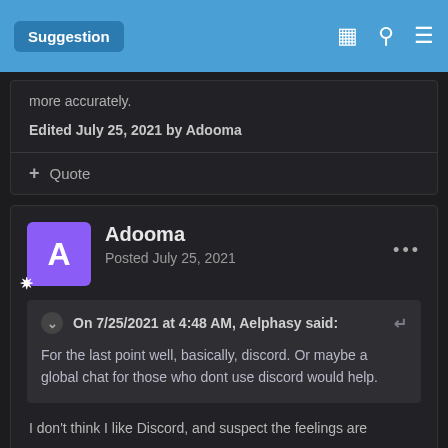Suggestion
more accurately.
Edited July 25, 2021 by Adooma
+ Quote
Adooma
Posted July 25, 2021
On 7/25/2021 at 4:48 AM, Aelphasy said:
For the last point well, basically, discord. Or maybe a global chat for those who dont use discord would help.
I don't think I like Discord, and suspect the feelings are